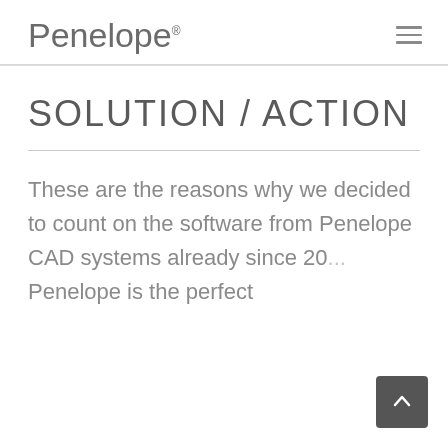Penelope®
SOLUTION / ACTION
These are the reasons why we decided to count on the software from Penelope CAD systems already since 20... Penelope is the perfect